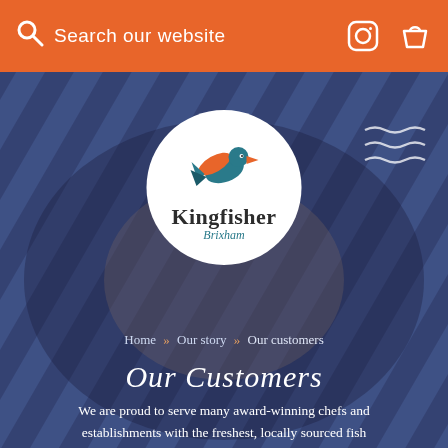Search our website
[Figure (logo): Kingfisher Brixham logo — circular white badge with a kingfisher bird illustration, text 'Kingfisher' in bold and 'Brixham' in teal italic below]
Home » Our story » Our customers
Our Customers
We are proud to serve many award-winning chefs and establishments with the freshest, locally sourced fish available in our South Coast waters.